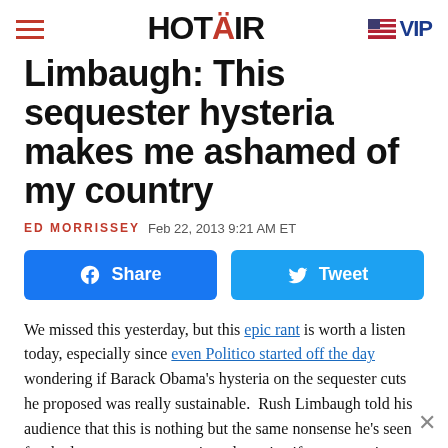HOT AIR  VIP
Limbaugh: This sequester hysteria makes me ashamed of my country
ED MORRISSEY  Feb 22, 2013 9:21 AM ET
[Figure (other): Facebook Share button and Twitter Tweet button]
We missed this yesterday, but this epic rant is worth a listen today, especially since even Politico started off the day wondering if Barack Obama's hysteria on the sequester cuts he proposed was really sustainable. Rush Limbaugh told his audience that this is nothing but the same nonsense he's seen for the last quarter-century in order to justify eve-growing federal budgets. It insults the intelligence of all Americans to see these scare tactics